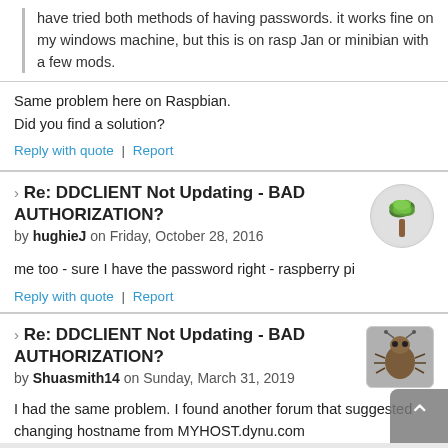have tried both methods of having passwords. it works fine on my windows machine, but this is on rasp Jan or minibian with a few mods.
Same problem here on Raspbian.
Did you find a solution?
Reply with quote | Report
Re: DDCLIENT Not Updating - BAD AUTHORIZATION?
by hughieJ on Friday, October 28, 2016
me too - sure I have the password right - raspberry pi
Reply with quote | Report
Re: DDCLIENT Not Updating - BAD AUTHORIZATION?
by Shuasmith14 on Sunday, March 31, 2019
I had the same problem. I found another forum that suggested changing hostname from MYHOST.dynu.com